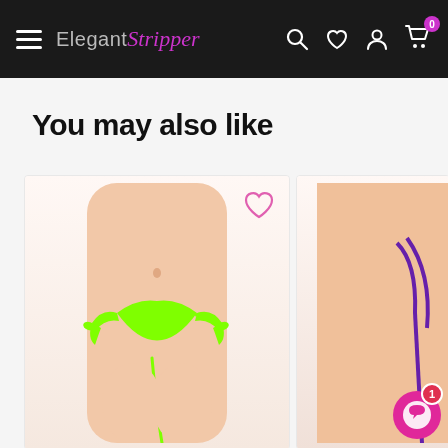Elegant Stripper — navigation bar with hamburger menu, logo, search, wishlist, account, and cart icons
You may also like
[Figure (photo): Product photo of a neon green string bikini thong with side tie details on a model, white background, with a pink heart wishlist icon in the upper right corner of the card]
[Figure (photo): Partial product photo showing a second item with purple straps on a model, partially cropped at the right edge of the page, with a pink chat widget badge showing number 1 in the lower right]